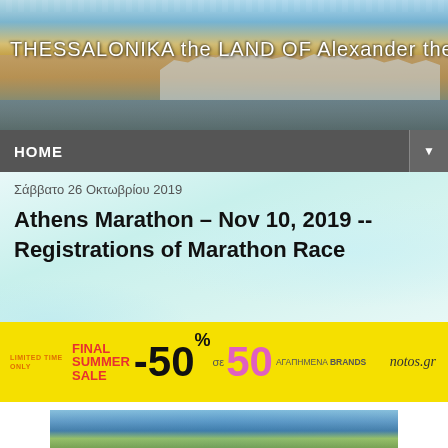[Figure (photo): Banner photo of Thessaloniki waterfront at sunset with city buildings and the White Tower, overlaid with text 'THESSALONIKA the LAND OF Alexander the Great']
HOME
Σάββατο 26 Οκτωβρίου 2019
Athens Marathon – Nov 10, 2019 -- Registrations of Marathon Race
[Figure (infographic): Yellow advertisement banner for notos.gr Final Summer Sale: -50% on 50 favourite brands]
[Figure (photo): Partial view of Athens city photo at bottom of page]